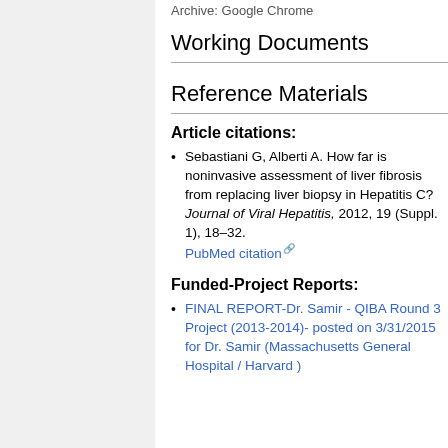Working Documents
Reference Materials
Article citations:
Sebastiani G, Alberti A. How far is noninvasive assessment of liver fibrosis from replacing liver biopsy in Hepatitis C? Journal of Viral Hepatitis, 2012, 19 (Suppl. 1), 18–32. PubMed citation
Funded-Project Reports:
FINAL REPORT-Dr. Samir - QIBA Round 3 Project (2013-2014)- posted on 3/31/2015 for Dr. Samir (Massachusetts General Hospital / Harvard )